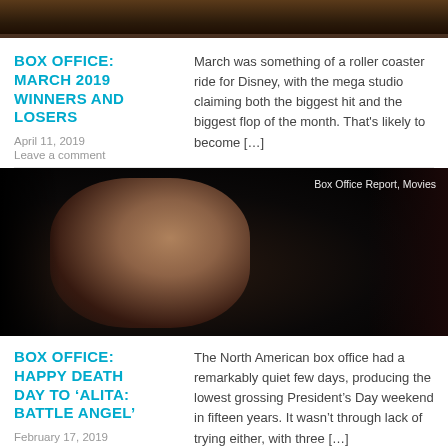[Figure (photo): Top strip of a dark-themed movie/entertainment image (partially cropped)]
BOX OFFICE: MARCH 2019 WINNERS AND LOSERS
March was something of a roller coaster ride for Disney, with the mega studio claiming both the biggest hit and the biggest flop of the month. That’s likely to become […]
April 11, 2019
Leave a comment
[Figure (photo): Dark cinematic still of a young woman (Alita: Battle Angel related imagery), with overlay text 'Box Office Report, Movies' in top right corner]
BOX OFFICE: HAPPY DEATH DAY TO ‘ALITA: BATTLE ANGEL’
The North American box office had a remarkably quiet few days, producing the lowest grossing President’s Day weekend in fifteen years. It wasn’t through lack of trying either, with three […]
February 17, 2019